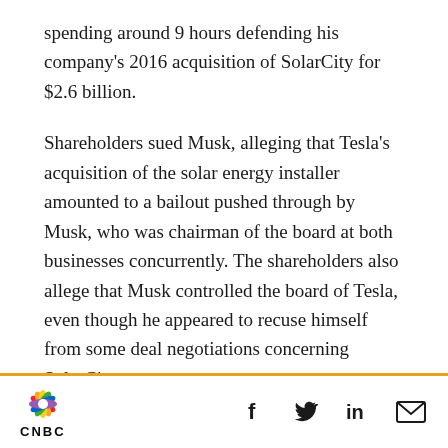spending around 9 hours defending his company's 2016 acquisition of SolarCity for $2.6 billion.
Shareholders sued Musk, alleging that Tesla's acquisition of the solar energy installer amounted to a bailout pushed through by Musk, who was chairman of the board at both businesses concurrently. The shareholders also allege that Musk controlled the board of Tesla, even though he appeared to recuse himself from some deal negotiations concerning SolarCity.
If Musk loses the lawsuit, he could have to pay
CNBC